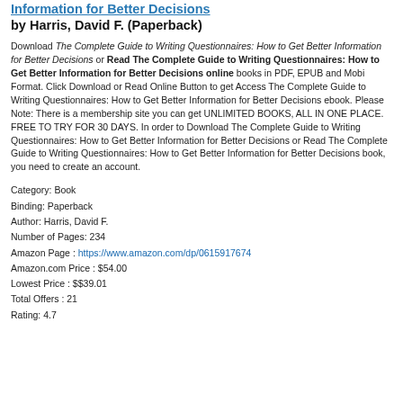Information for Better Decisions by Harris, David F. (Paperback)
Download The Complete Guide to Writing Questionnaires: How to Get Better Information for Better Decisions or Read The Complete Guide to Writing Questionnaires: How to Get Better Information for Better Decisions online books in PDF, EPUB and Mobi Format. Click Download or Read Online Button to get Access The Complete Guide to Writing Questionnaires: How to Get Better Information for Better Decisions ebook. Please Note: There is a membership site you can get UNLIMITED BOOKS, ALL IN ONE PLACE. FREE TO TRY FOR 30 DAYS. In order to Download The Complete Guide to Writing Questionnaires: How to Get Better Information for Better Decisions or Read The Complete Guide to Writing Questionnaires: How to Get Better Information for Better Decisions book, you need to create an account.
Category: Book
Binding: Paperback
Author: Harris, David F.
Number of Pages: 234
Amazon Page : https://www.amazon.com/dp/0615917674
Amazon.com Price : $54.00
Lowest Price : $$39.01
Total Offers : 21
Rating: 4.7